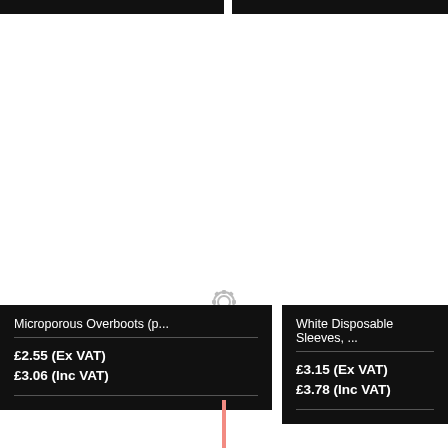[Figure (infographic): Top black header bar on left side]
[Figure (infographic): Top black header bar on right side]
[Figure (infographic): Red diagonal 'Out Of Stock' ribbon banner on right side of page]
[Figure (infographic): Small grey circular icon/badge in center divider between two product boxes]
Microporous Overboots (p...
£2.55 (Ex VAT)
£3.06 (Inc VAT)
White Disposable Sleeves, ...
£3.15 (Ex VAT)
£3.78 (Inc VAT)
[Figure (infographic): Small pink/salmon vertical line at bottom center of page]